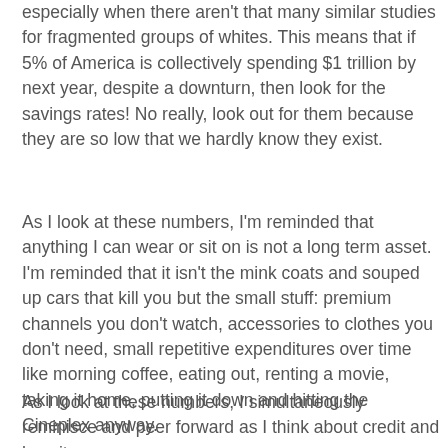especially when there aren't that many similar studies for fragmented groups of whites. This means that if 5% of America is collectively spending $1 trillion by next year, despite a downturn, then look for the savings rates! No really, look out for them because they are so low that we hardly know they exist.
As I look at these numbers, I'm reminded that anything I can wear or sit on is not a long term asset. I'm reminded that it isn't the mink coats and souped up cars that kill you but the small stuff: premium channels you don't watch, accessories to clothes you don't need, small repetitive expenditures over time like morning coffee, eating out, renting a movie, taking it home, putting it down and hitting the Cineplex anyway.
As I look at these numbers, I simultaneously reminisce and peer forward as I think about credit and how it encourages